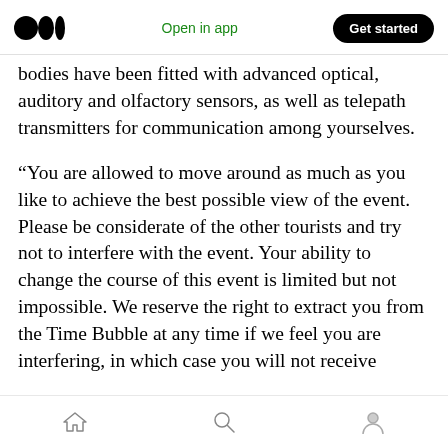Medium logo | Open in app | Get started
bodies have been fitted with advanced optical, auditory and olfactory sensors, as well as telepath transmitters for communication among yourselves.
“You are allowed to move around as much as you like to achieve the best possible view of the event. Please be considerate of the other tourists and try not to interfere with the event. Your ability to change the course of this event is limited but not impossible. We reserve the right to extract you from the Time Bubble at any time if we feel you are interfering, in which case you will not receive
Home | Search | Profile